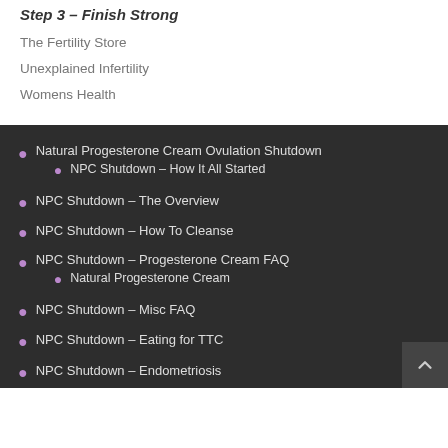Step 3 – Finish Strong
The Fertility Store
Unexplained Infertility
Womens Health
Natural Progesterone Cream Ovulation Shutdown
NPC Shutdown – How It All Started
NPC Shutdown – The Overview
NPC Shutdown – How To Cleanse
NPC Shutdown – Progesterone Cream FAQ
Natural Progesterone Cream
NPC Shutdown – Misc FAQ
NPC Shutdown – Eating for TTC
NPC Shutdown – Endometriosis